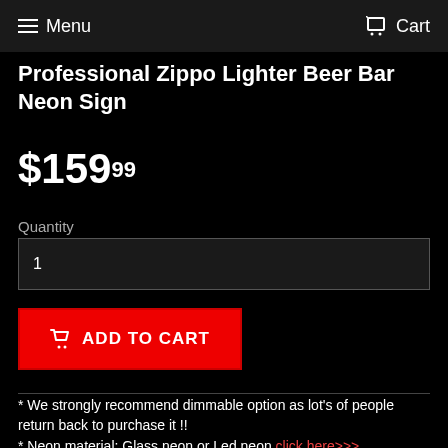Menu  Cart
Professional Zippo Lighter Beer Bar Neon Sign
$159.99
Quantity
1
ADD TO CART
* We strongly recommend dimmable option as lot's of people return back to purchase it !!
* Neon material: Glass neon or Led neon click here>>>,